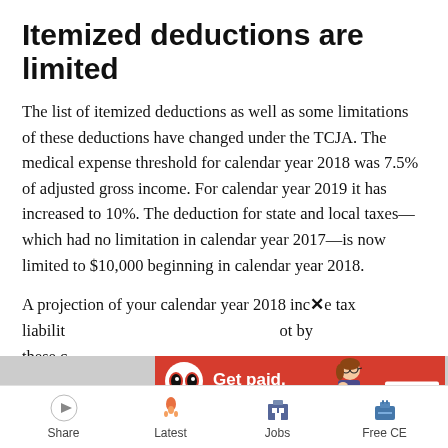Itemized deductions are limited
The list of itemized deductions as well as some limitations of these deductions have changed under the TCJA. The medical expense threshold for calendar year 2018 was 7.5% of adjusted gross income. For calendar year 2019 it has increased to 10%. The deduction for state and local taxes—which had no limitation in calendar year 2017—is now limited to $10,000 beginning in calendar year 2018.
A projection of your calendar year 2018 income tax liability...not by these c...
[Figure (infographic): Advertisement banner: Eyes On Income logo, red background with 'Get paid. Get noticed.' text, illustration of woman at computer, 'Get started' button]
Share   Latest   Jobs   Free CE